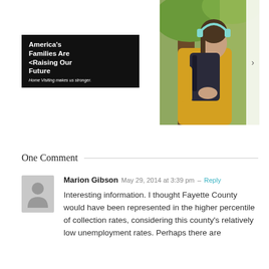[Figure (photo): Advertisement banner with dark background showing mother holding baby. Text reads: America's Families Are Raising Our Future. Home Visiting makes us stronger.]
[Figure (photo): Photo of a young woman wearing yellow sweater, carrying a backpack, wearing teal headphones, leaning against a tree outdoors. Navigation arrow visible on right edge.]
One Comment
Marion Gibson  May 29, 2014 at 3:39 pm – Reply
Interesting information. I thought Fayette County would have been represented in the higher percentile of collection rates, considering this county's relatively low unemployment rates. Perhaps there are